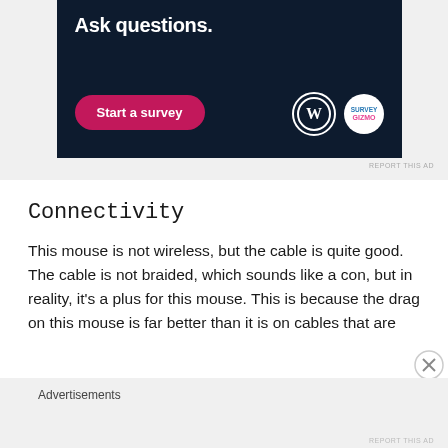[Figure (screenshot): Advertisement banner with dark navy background. Shows 'Ask questions.' in bold white text, a pink/magenta 'Start a survey' button, and WordPress and SurveyGizmo logos on the right.]
REPORT THIS AD
Connectivity
This mouse is not wireless, but the cable is quite good. The cable is not braided, which sounds like a con, but in reality, it's a plus for this mouse. This is because the drag on this mouse is far better than it is on cables that are
Advertisements
REPORT THIS AD